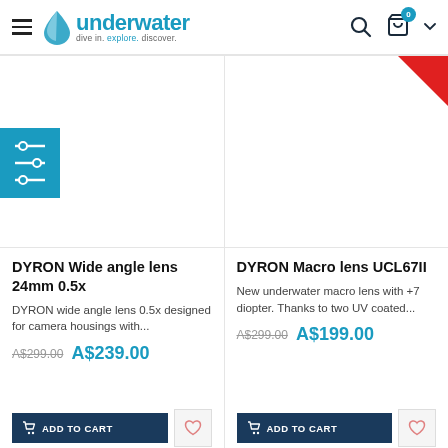underwater — dive in. explore. discover.
[Figure (screenshot): Filter/sliders icon button in teal background]
[Figure (photo): Product image area for DYRON Wide angle lens 24mm 0.5x — white/empty product image]
[Figure (photo): Product image area for DYRON Macro lens UCL67II — white product image with red sale corner tag]
DYRON Wide angle lens 24mm 0.5x
DYRON wide angle lens 0.5x designed for camera housings with...
A$299.00  A$239.00
DYRON Macro lens UCL67II
New underwater macro lens with +7 diopter. Thanks to two UV coated...
A$299.00  A$199.00